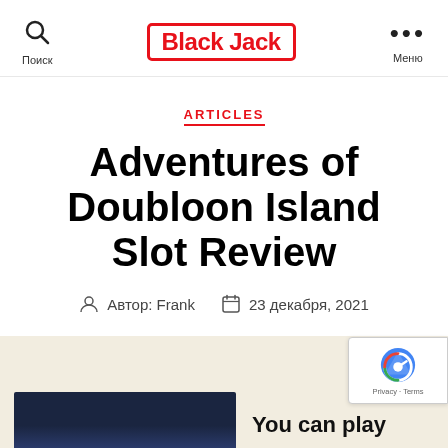Поиск | BlackJack | Меню
ARTICLES
Adventures of Doubloon Island Slot Review
Автор: Frank  23 декабря, 2021
You can play